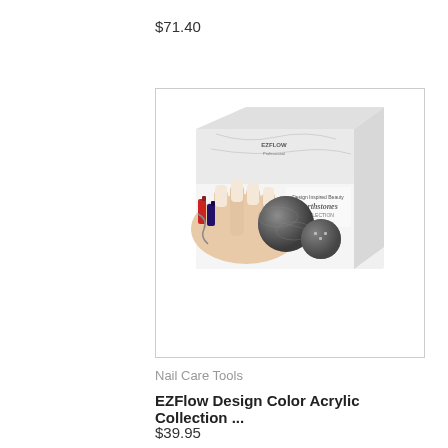$71.40
[Figure (photo): EZFlow Design Color Acrylic Collection product box showing Earthstones collection, with close-up of manicured nails holding decorative spheres]
Nail Care Tools
EZFlow Design Color Acrylic Collection ...
$39.95